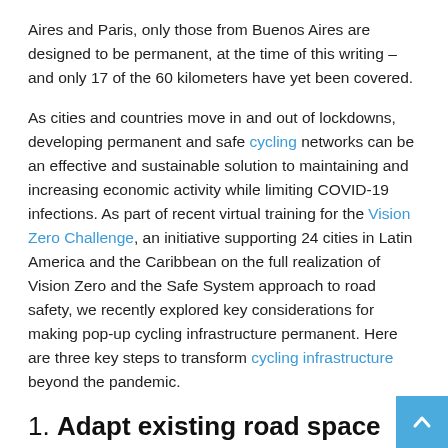Aires and Paris, only those from Buenos Aires are designed to be permanent, at the time of this writing – and only 17 of the 60 kilometers have yet been covered.
As cities and countries move in and out of lockdowns, developing permanent and safe cycling networks can be an effective and sustainable solution to maintaining and increasing economic activity while limiting COVID-19 infections. As part of recent virtual training for the Vision Zero Challenge, an initiative supporting 24 cities in Latin America and the Caribbean on the full realization of Vision Zero and the Safe System approach to road safety, we recently explored key considerations for making pop-up cycling infrastructure permanent. Here are three key steps to transform cycling infrastructure beyond the pandemic.
1. Adapt existing road space through tactical town planning